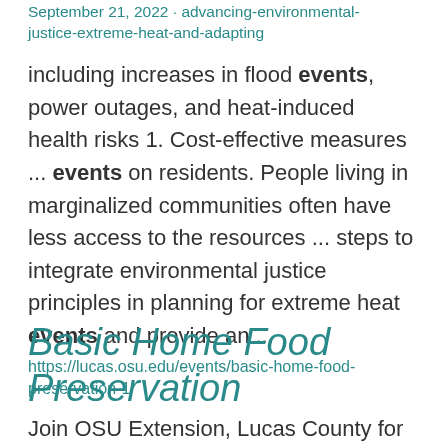September 21, 2022 · advancing-environmental-justice-extreme-heat-and-adapting including increases in flood events, power outages, and heat-induced health risks 1. Cost-effective measures ... events on residents. People living in marginalized communities often have less access to the resources ... steps to integrate environmental justice principles in planning for extreme heat events and provide an ...
Basic Home Food Preservation
https://lucas.osu.edu/events/basic-home-food-preservation-1
Join OSU Extension, Lucas County for a